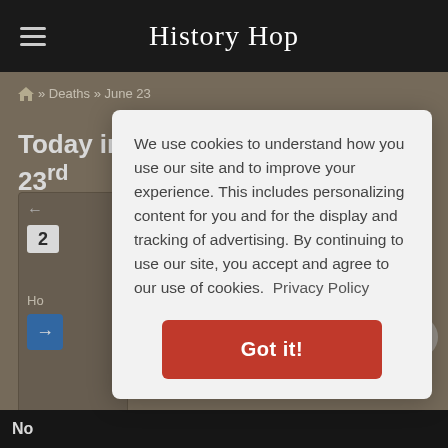History Hop
» Deaths » June 23
Today in History - Deaths - June 23rd
We use cookies to understand how you use our site and to improve your experience. This includes personalizing content for you and for the display and tracking of advertising. By continuing to use our site, you accept and agree to our use of cookies. Privacy Policy
Got it!